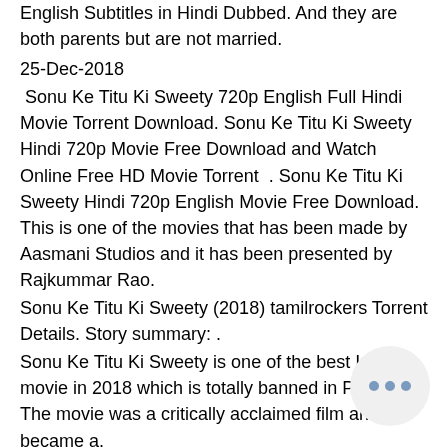English Subtitles in Hindi Dubbed. And they are both parents but are not married.
25-Dec-2018
Sonu Ke Titu Ki Sweety 720p English Full Hindi Movie Torrent Download. Sonu Ke Titu Ki Sweety Hindi 720p Movie Free Download and Watch Online Free HD Movie Torrent . Sonu Ke Titu Ki Sweety Hindi 720p English Movie Free Download. This is one of the movies that has been made by Aasmani Studios and it has been presented by Rajkummar Rao.
Sonu Ke Titu Ki Sweety (2018) tamilrockers Torrent Details. Story summary: .
Sonu Ke Titu Ki Sweety is one of the best Indian movie in 2018 which is totally banned in Pakistan. The movie was a critically acclaimed film and became a.
Sonu Ke Titu Ki Sweety was a glorious movie of 2018 with huge number of au in its box-office. This movie is based on a